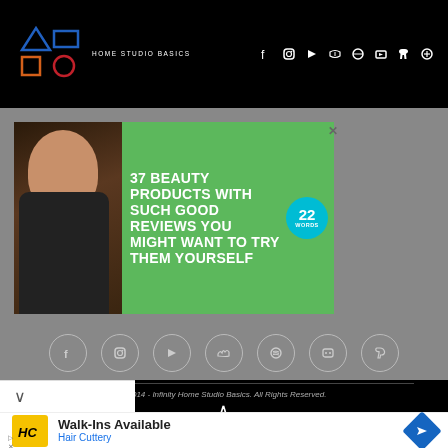HOME STUDIO BASICS
[Figure (screenshot): Advertisement banner: '37 Beauty Products With Such Good Reviews You Might Want To Try Them Yourself' with a woman's photo and '22 Words' badge on green background]
[Figure (screenshot): Footer social media icon row: Facebook, Instagram, YouTube, SoundCloud, Spotify, Discord, PayPal icons in circles]
©2014 - Infinity Home Studio Basics. All Rights Reserved.
BACK TO TOP
[Figure (screenshot): Mobile ad: Walk-Ins Available - Hair Cuttery, with HC logo and navigation icon]